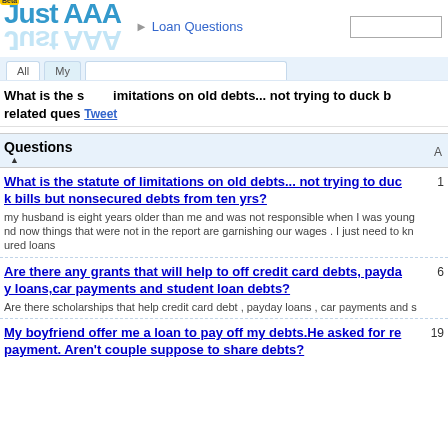[Figure (logo): Just AAA logo with beta badge and reflection]
Loan Questions
What is the statute of limitations on old debts... not trying to duck bills but nonsecured debts from ten yrs? related questions
Tweet
Questions
What is the statute of limitations on old debts... not trying to duck bills but nonsecured debts from ten yrs?
my husband is eight years older than me and was not responsible when I was young and now things that were not in the report are garnishing our wages . I just need to know about unsecured loans
Are there any grants that will help to off credit card debts, payday loans,car payments and student loan debts?
Are there scholarships that help credit card debt , payday loans , car payments and s
My boyfriend offer me a loan to pay off my debts.He asked for repayment. Aren't couple suppose to share debts?